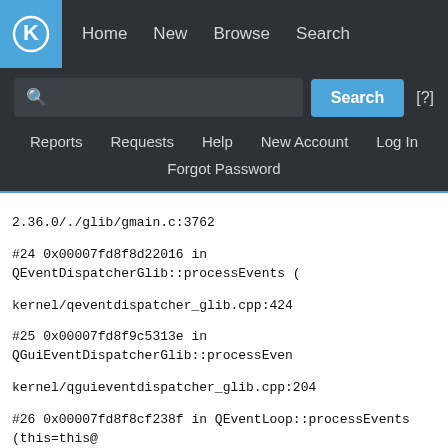KDE Bugtracker navigation bar with Home, New, Browse, Search links and search input
2.36.0/./glib/gmain.c:3762
#24 0x00007fd8f8d22016 in QEventDispatcherGlib::processEvents ( kernel/qeventdispatcher_glib.cpp:424
#25 0x00007fd8f9c5313e in QGuiEventDispatcherGlib::processEvents kernel/qguieventdispatcher_glib.cpp:204
#26 0x00007fd8f8cf238f in QEventLoop::processEvents (this=this@ kernel/qeventloop.cpp:149
#27 0x00007fd8f8cf2618 in QEventLoop::exec (this=this@entry=0x7
#28 0x00007fd8f8cf7cf6 in QCoreApplication::exec () at kernel/qco
#29 0x000000000040f92e in main (argc=4, argv=0x7fff00cb7188) at /home/mark/Devel/src/amarok/src/main.cpp:329